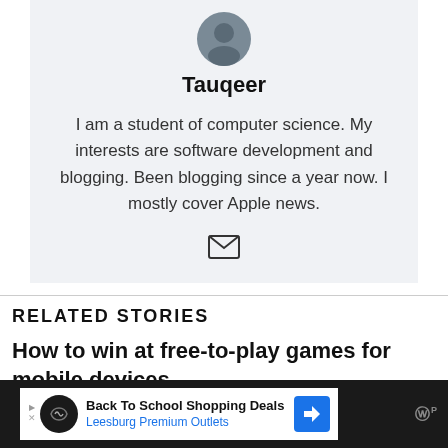[Figure (photo): Circular avatar photo of Tauqeer]
Tauqeer
I am a student of computer science. My interests are software development and blogging. Been blogging since a year now. I mostly cover Apple news.
[Figure (illustration): Email envelope icon]
RELATED STORIES
How to win at free-to-play games for mobile devices
[Figure (other): Advertisement bar: Back To School Shopping Deals — Leesburg Premium Outlets]